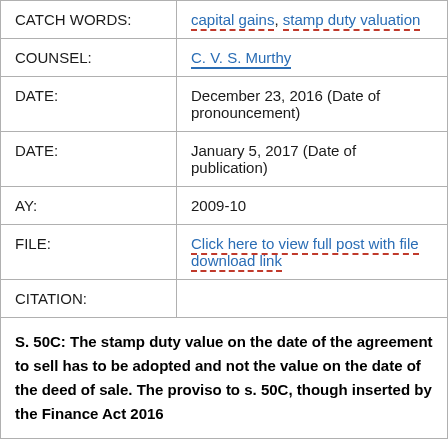| Field | Value |
| --- | --- |
| CATCH WORDS: | capital gains, stamp duty valuation |
| COUNSEL: | C. V. S. Murthy |
| DATE: | December 23, 2016 (Date of pronouncement) |
| DATE: | January 5, 2017 (Date of publication) |
| AY: | 2009-10 |
| FILE: | Click here to view full post with file download link |
| CITATION: |  |
S. 50C: The stamp duty value on the date of the agreement to sell has to be adopted and not the value on the date of the deed of sale. The proviso to s. 50C, though inserted by the Finance Act 2016